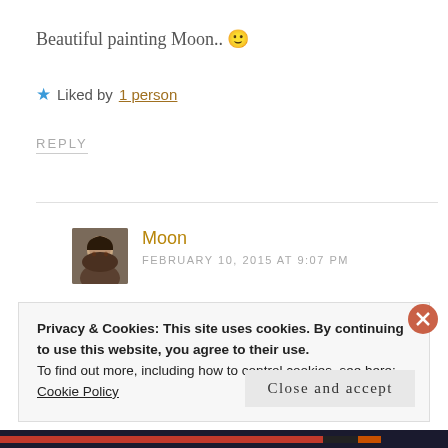Beautiful painting Moon.. 🙂
★ Liked by 1 person
REPLY
[Figure (photo): Avatar photo of commenter Moon, a woman with dark hair, small square thumbnail]
Moon
FEBRUARY 10, 2015 AT 9:07 PM
Thank you. It's a great compliment for me
Privacy & Cookies: This site uses cookies. By continuing to use this website, you agree to their use.
To find out more, including how to control cookies, see here:
Cookie Policy
Close and accept